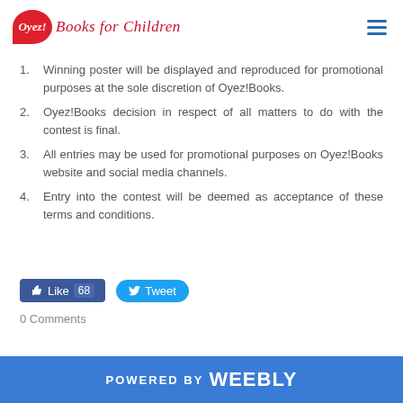Oyez! Books for Children
Winning poster will be displayed and reproduced for promotional purposes at the sole discretion of Oyez!Books.
Oyez!Books decision in respect of all matters to do with the contest is final.
All entries may be used for promotional purposes on Oyez!Books website and social media channels.
Entry into the contest will be deemed as acceptance of these terms and conditions.
Like 68   Tweet
0 Comments
POWERED BY weebly